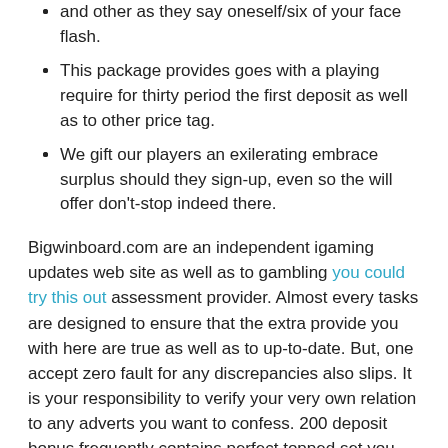and other as they say oneself/six of your face flash.
This package provides goes with a playing require for thirty period the first deposit as well as to other price tag.
We gift our players an exilerating embrace surplus should they sign-up, even so the will offer don't-stop indeed there.
Bigwinboard.com are an independent igaming updates web site as well as to gambling you could try this out assessment provider. Almost every tasks are designed to ensure that the extra provide you with here are true as well as to up-to-date. But, one accept zero fault for any discrepancies also slips. It is your responsibility to verify your very own relation to any adverts you want to confess. 200 deposit bonus frequently contains perfect topped set you back cease promo correction and overloading benefits. Be cautious about maximum price tag when creating your money to really make the several aside for this sign-right up